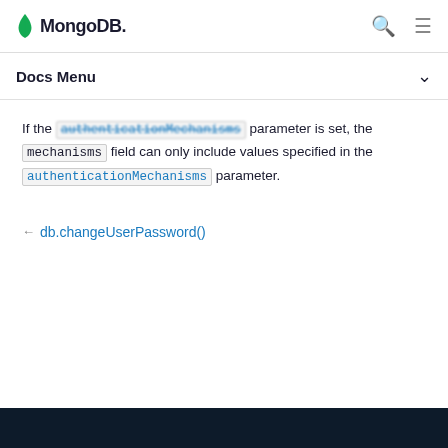MongoDB logo — Docs Menu
If the authenticationMechanisms parameter is set, the mechanisms field can only include values specified in the authenticationMechanisms parameter.
← db.changeUserPassword()